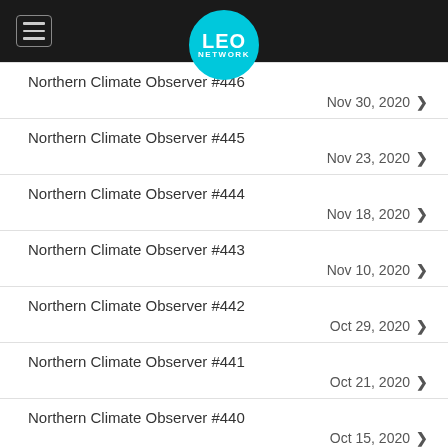LEO NETWORK
Northern Climate Observer #446
Northern Climate Observer #445
Northern Climate Observer #444
Northern Climate Observer #443
Northern Climate Observer #442
Northern Climate Observer #441
Northern Climate Observer #440